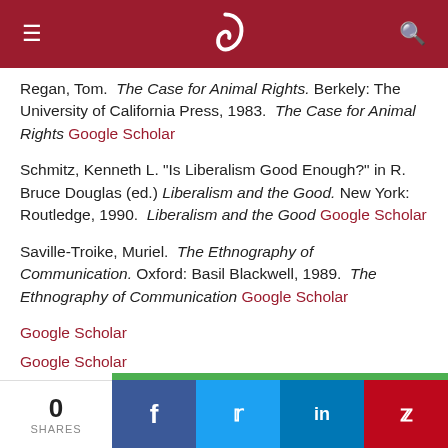≡ ) 🔍
Regan, Tom. The Case for Animal Rights. Berkely: The University of California Press, 1983. The Case for Animal Rights Google Scholar
Schmitz, Kenneth L. "Is Liberalism Good Enough?" in R. Bruce Douglas (ed.) Liberalism and the Good. New York: Routledge, 1990. Liberalism and the Good Google Scholar
Saville-Troike, Muriel. The Ethnography of Communication. Oxford: Basil Blackwell, 1989. The Ethnography of Communication Google Scholar
Google Scholar
Google Scholar
Google Scholar
Sypnowich, Christine. "Rights, Community, and the Charter." British Journal of Canadian Studies 6:1 (1991). Rights
0 SHARES  f  t  in  p